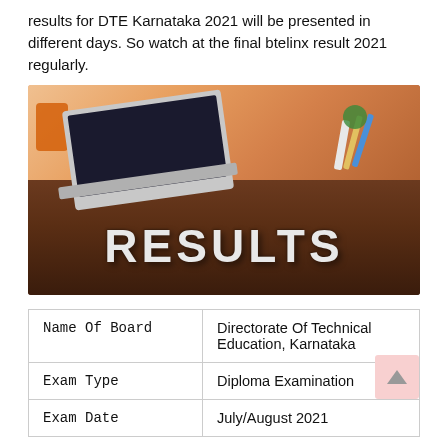results for DTE Karnataka 2021 will be presented in different days. So watch at the final btelinx result 2021 regularly.
[Figure (photo): Photo showing the word RESULTS in large white 3D letters on a wooden desk, with a laptop and stationery in the background]
| Name Of Board | Directorate Of Technical Education, Karnataka |
| Exam Type | Diploma Examination |
| Exam Date | July/August 2021 |